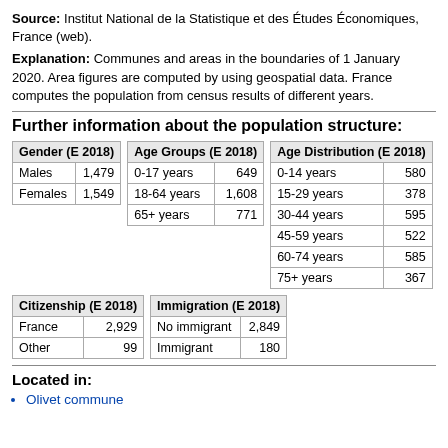Source: Institut National de la Statistique et des Études Économiques, France (web).
Explanation: Communes and areas in the boundaries of 1 January 2020. Area figures are computed by using geospatial data. France computes the population from census results of different years.
Further information about the population structure:
| Gender (E 2018) |  |
| --- | --- |
| Males | 1,479 |
| Females | 1,549 |
| Age Groups (E 2018) |  |
| --- | --- |
| 0-17 years | 649 |
| 18-64 years | 1,608 |
| 65+ years | 771 |
| Age Distribution (E 2018) |  |
| --- | --- |
| 0-14 years | 580 |
| 15-29 years | 378 |
| 30-44 years | 595 |
| 45-59 years | 522 |
| 60-74 years | 585 |
| 75+ years | 367 |
| Citizenship (E 2018) |  |
| --- | --- |
| France | 2,929 |
| Other | 99 |
| Immigration (E 2018) |  |
| --- | --- |
| No immigrant | 2,849 |
| Immigrant | 180 |
Located in:
Olivet commune